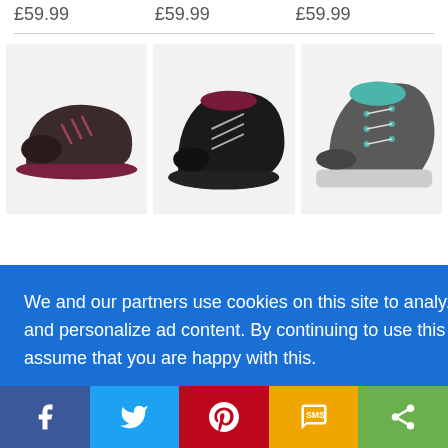£59.99  £59.99  £59.99
[Figure (photo): Three hiking shoes/boots product images in a row — left: dark grey/maroon low-cut trail shoe, center: black mid-cut hiking boot, right: grey/teal high-cut hiking boot]
dy
rey
ng
We and our partners use cookies on this site to analyze our traffic and personalize ad content. By continuing to use this site we will assume that you are happy with this.
Learn more
Got it!
[Figure (infographic): Social sharing bar with Facebook, Twitter, Pinterest, SMS, and Share icons]